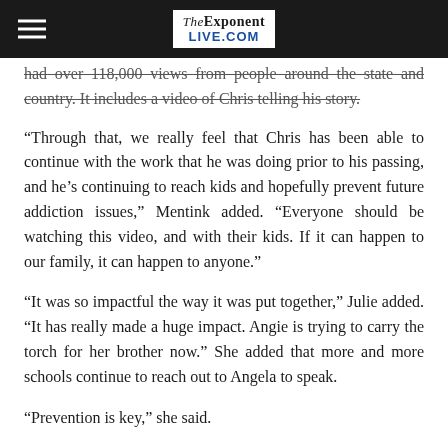The Exponent Live.com
had over 118,000 views from people around the state and country. It includes a video of Chris telling his story.
“Through that, we really feel that Chris has been able to continue with the work that he was doing prior to his passing, and he’s continuing to reach kids and hopefully prevent future addiction issues,” Mentink added. “Everyone should be watching this video, and with their kids. If it can happen to our family, it can happen to anyone.”
“It was so impactful the way it was put together,” Julie added. “It has really made a huge impact. Angie is trying to carry the torch for her brother now.” She added that more and more schools continue to reach out to Angela to speak.
“Prevention is key,” she said.